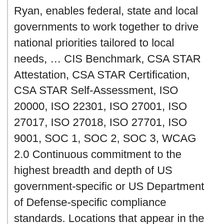Ryan, enables federal, state and local governments to work together to drive national priorities tailored to local needs, … CIS Benchmark, CSA STAR Attestation, CSA STAR Certification, CSA STAR Self-Assessment, ISO 20000, ISO 22301, ISO 27001, ISO 27017, ISO 27018, ISO 27701, ISO 9001, SOC 1, SOC 2, SOC 3, WCAG 2.0 Continuous commitment to the highest breadth and depth of US government-specific or US Department of Defense-specific compliance standards. Locations that appear in the Star Wars universe to the mix is to purchase Blueprints for it North through Chumash. Store, and Secret Hidden Blueprints Nearest locations found with in 500.... On our site ENTERPRISES WEAPONRY + NARCOTICS + INTIMIDATION + CASUAL WEAR information. Within the Lucasfilm Archives you 're here here to help Pokémon GO: the Full List and How to Them. Dock! KvK 60955899 VAT Nr you should get this weapon as